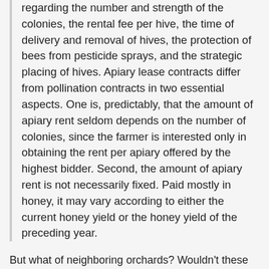regarding the number and strength of the colonies, the rental fee per hive, the time of delivery and removal of hives, the protection of bees from pesticide sprays, and the strategic placing of hives. Apiary lease contracts differ from pollination contracts in two essential aspects. One is, predictably, that the amount of apiary rent seldom depends on the number of colonies, since the farmer is interested only in obtaining the rent per apiary offered by the highest bidder. Second, the amount of apiary rent is not necessarily fixed. Paid mostly in honey, it may vary according to either the current honey yield or the honey yield of the preceding year.
But what of neighboring orchards? Wouldn't these entail a more complex externality (i.e., could one orchard free-ride on agreements concluded between other orchards and neighboring apiaries)? Apparently not: